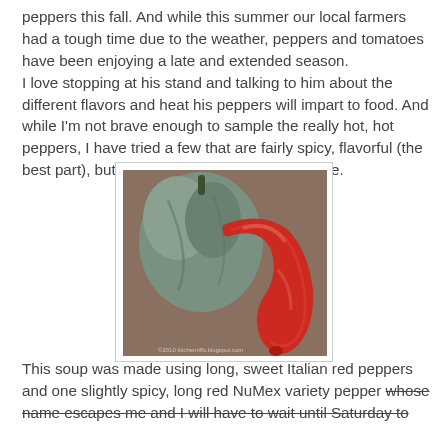peppers this fall. And while this summer our local farmers had a tough time due to the weather, peppers and tomatoes have been enjoying a late and extended season. I love stopping at his stand and talking to him about the different flavors and heat his peppers will impart to food. And while I'm not brave enough to sample the really hot, hot peppers, I have tried a few that are fairly spicy, flavorful (the best part), but not hot enough to slay my palate.
[Figure (photo): Photo of a large green-blue pepper and a long red curved Italian/NuMex pepper lying together on a surface.]
This soup was made using long, sweet Italian red peppers and one slightly spicy, long red NuMex variety pepper whose name escapes me and I will have to wait until Saturday to